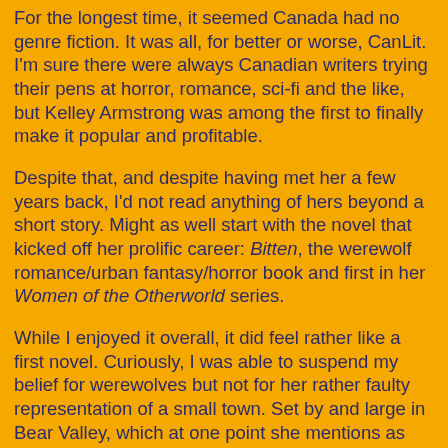For the longest time, it seemed Canada had no genre fiction. It was all, for better or worse, CanLit. I'm sure there were always Canadian writers trying their pens at horror, romance, sci-fi and the like, but Kelley Armstrong was among the first to finally make it popular and profitable.
Despite that, and despite having met her a few years back, I'd not read anything of hers beyond a short story. Might as well start with the novel that kicked off her prolific career: Bitten, the werewolf romance/urban fantasy/horror book and first in her Women of the Otherworld series.
While I enjoyed it overall, it did feel rather like a first novel. Curiously, I was able to suspend my belief for werewolves but not for her rather faulty representation of a small town. Set by and large in Bear Valley, which at one point she mentions as having only 8000 inhabitants, it ebbs and flows between small town and major city. No small town I've ever lived in (and I've lived in many) would have had the rave described here and if an enormous "dog" wound up killing people at said rave, I can assure you that it would be front page news for a very long time.